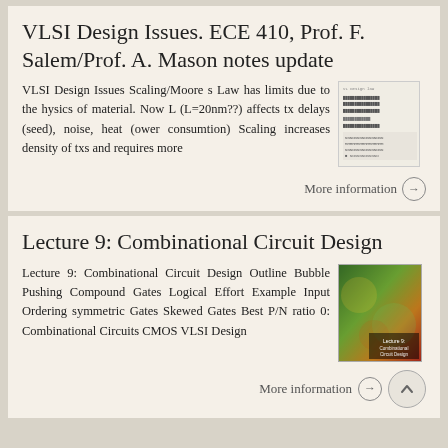VLSI Design Issues. ECE 410, Prof. F. Salem/Prof. A. Mason notes update
VLSI Design Issues Scaling/Moore s Law has limits due to the hysics of material. Now L (L=20nm??) affects tx delays (seed), noise, heat (ower consumtion) Scaling increases density of txs and requires more
[Figure (other): Thumbnail image of a document page with text lines]
More information →
Lecture 9: Combinational Circuit Design
Lecture 9: Combinational Circuit Design Outline Bubble Pushing Compound Gates Logical Effort Example Input Ordering symmetric Gates Skewed Gates Best P/N ratio 0: Combinational Circuits CMOS VLSI Design
[Figure (other): Thumbnail image of a colorful book cover for Lecture 9 Combinational Circuit Design]
More information →